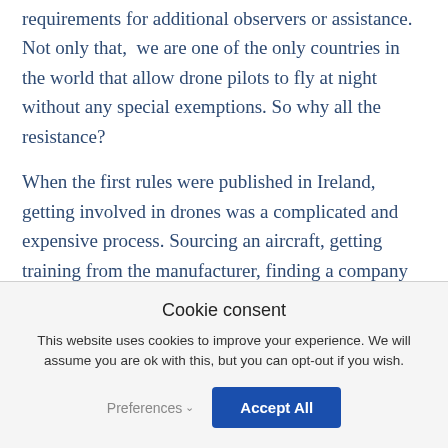requirements for additional observers or assistance. Not only that,  we are one of the only countries in the world that allow drone pilots to fly at night without any special exemptions. So why all the resistance?
When the first rules were published in Ireland, getting involved in drones was a complicated and expensive process. Sourcing an aircraft, getting training from the manufacturer, finding a company to insure you, getting a
Cookie consent
This website uses cookies to improve your experience. We will assume you are ok with this, but you can opt-out if you wish.